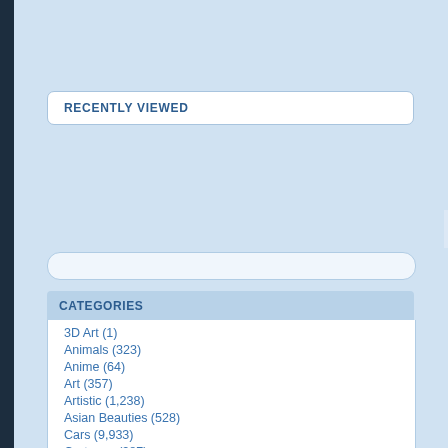RECENTLY VIEWED
CATEGORIES
3D Art (1)
Animals (323)
Anime (64)
Art (357)
Artistic (1,238)
Asian Beauties (528)
Cars (9,933)
Cartoons (287)
Celebrities (486)
Festive (18)
General (253)
Landscape (649)
Mac (1,279)